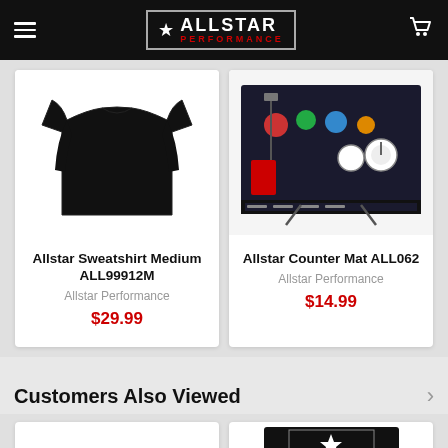Allstar Performance
[Figure (photo): Black Allstar sweatshirt product photo]
Allstar Sweatshirt Medium ALL99912M
Allstar Performance
$29.99
[Figure (photo): Allstar Counter Mat ALL062 product photo showing display board with various products]
Allstar Counter Mat ALL062
Allstar Performance
$14.99
Customers Also Viewed
[Figure (photo): Bottom left product card - partially visible]
[Figure (photo): Allstar Performance packaged product - small hardware/bolts]